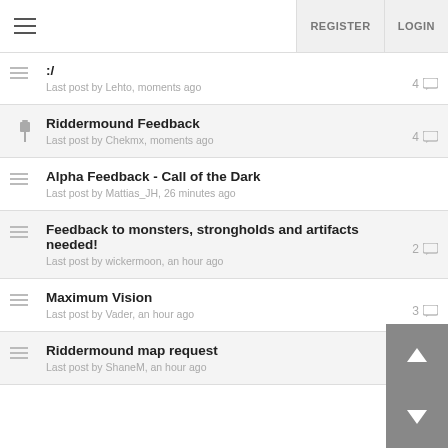REGISTER  LOGIN
:/ — Last post by Lehto, moments ago — 4 replies
Riddermound Feedback — Last post by Chekmx, moments ago — 4 replies
Alpha Feedback - Call of the Dark — Last post by Mattias_JH, 26 minutes ago
Feedback to monsters, strongholds and artifacts needed! — Last post by wickermoon, an hour ago — 2 replies
Maximum Vision — Last post by Vader, an hour ago — 3 replies
Riddermound map request — Last post by ShaneM, an hour ago — 6 replies